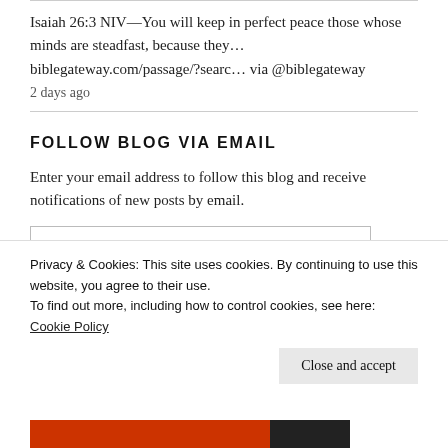Isaiah 26:3 NIV—You will keep in perfect peace those whose minds are steadfast, because they… biblegateway.com/passage/?searc… via @biblegateway
2 days ago
FOLLOW BLOG VIA EMAIL
Enter your email address to follow this blog and receive notifications of new posts by email.
Privacy & Cookies: This site uses cookies. By continuing to use this website, you agree to their use.
To find out more, including how to control cookies, see here: Cookie Policy